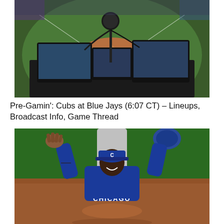[Figure (photo): A broadcast booth view of a baseball stadium from an elevated angle, showing multiple monitors and a microphone in the foreground with the baseball diamond visible in the background.]
Pre-Gamin': Cubs at Blue Jays (6:07 CT) – Lineups, Broadcast Info, Game Thread
[Figure (photo): A Chicago Cubs player wearing a blue jersey with CHICAGO written on it celebrating with both arms raised, wearing a blue Cubs cap with the C logo.]
Marcus Stroman Loves Making People's Day